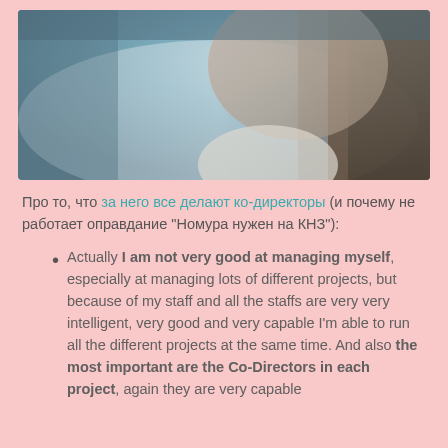[Figure (photo): Close-up photo of a person's face in profile, with blurred background, bluish-gray tones]
Про то, что за него все делают ко-директоры (и почему не работает оправдание "Номура нужен на КНЗ"):
Actually I am not very good at managing myself, especially at managing lots of different projects, but because of my staff and all the staffs are very very intelligent, very good and very capable I'm able to run all the different projects at the same time. And also the most important are the Co-Directors in each project, again they are very capable